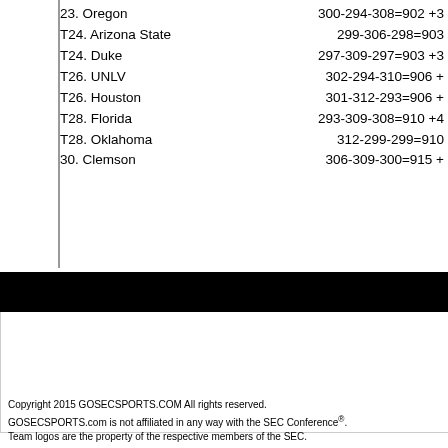23. Oregon    300-294-308=902 +3
T24. Arizona State    299-306-298=903
T24. Duke    297-309-297=903 +3
T26. UNLV    302-294-310=906 +
T26. Houston    301-312-293=906 +
T28. Florida    293-309-308=910 +4
T28. Oklahoma    312-299-299=910
30. Clemson    306-309-300=915 +
[Figure (logo): Go BIG 10 SPORTS logo in blue and yellow italic bold text]
Copyright 2015 GOSECSPORTS.COM All rights reserved. GOSECSPORTS.com is not affiliated in any way with the SEC Conference®. Team logos are the property of the respective members of the SEC. This website is an unofficial source of sports news and information, and is not affiliated with any school, team or league.